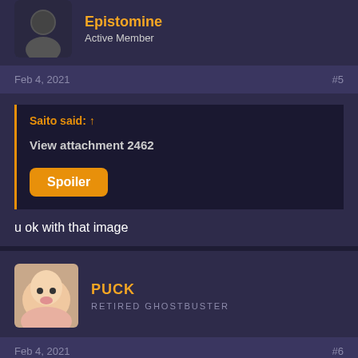[Figure (photo): User avatar - female profile photo with dark background, small size]
Epistomine
Active Member
Feb 4, 2021    #5
Saito said: ↑
View attachment 2462
Spoiler
u ok with that image
[Figure (photo): User avatar - baby/infant photo, smiling]
PUCK
RETIRED GHOSTBUSTER
Feb 4, 2021    #6